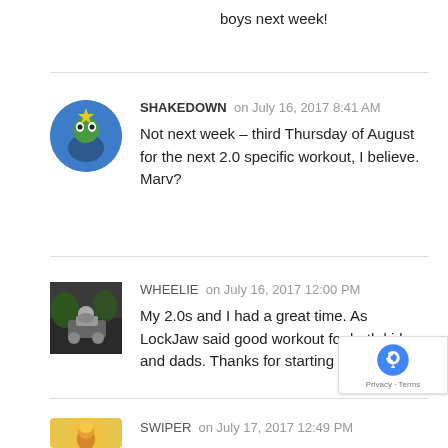boys next week!
SHAKEDOWN on July 16, 2017 8:41 AM
Not next week – third Thursday of August for the next 2.0 specific workout, I believe. Marv?
WHEELIE on July 16, 2017 12:00 PM
My 2.0s and I had a great time. As LockJaw said good workout for both kids and dads. Thanks for starting this up, Marv.
SWIPER on July 17, 2017 12:49 PM